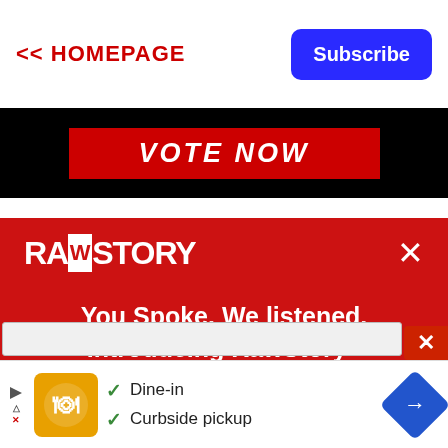<< HOMEPAGE
Subscribe
[Figure (screenshot): VOTE NOW banner with red background on black strip]
[Figure (logo): RawStory logo in white on red background]
You Spoke. We listened. Introducing RawStory+
Enjoy a reduced ad experience and support our important journalism for just $1.
[Figure (screenshot): Bottom advertisement banner showing Dine-in and Curbside pickup options with navigation map icon]